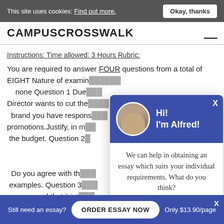This site uses cookies: Find out more. Okay, thanks
CAMPUSCROSSWALK
Instructions: Time allowed: 3 Hours Rubric: You are required to answer FOUR questions from a total of EIGHT Nature of examining: none Question 1 Due: Director wants to cut the brand you have responsible promotions.Justify, in m the budget. Question 2
[Figure (infographic): Chat popup with avatar of a man labeled Alfred, purple header, message: We can help in obtaining an essay which suits your individual requirements. What do you think? Check it out link. Close button X.]
Do you agree with the examples. Question 3 announced that it int placement on television in the UK. Explain why the government has made this move and how it will result in increased sales for brands advertised in this way. Question
Still need an essay?  ORDER ESSAY NOW  Only $13.90/page